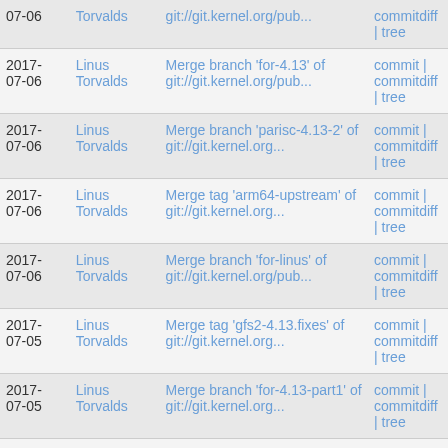| Date | Author | Message | Links |
| --- | --- | --- | --- |
| 2017-07-06 | Linus Torvalds | git://git.kernel.org/pub... | commitdiff | tree |
| 2017-07-06 | Linus Torvalds | Merge branch 'for-4.13' of git://git.kernel.org/pub... | commit | commitdiff | tree |
| 2017-07-06 | Linus Torvalds | Merge branch 'parisc-4.13-2' of git://git.kernel.org... | commit | commitdiff | tree |
| 2017-07-06 | Linus Torvalds | Merge tag 'arm64-upstream' of git://git.kernel.org... | commit | commitdiff | tree |
| 2017-07-06 | Linus Torvalds | Merge branch 'for-linus' of git://git.kernel.org/pub... | commit | commitdiff | tree |
| 2017-07-05 | Linus Torvalds | Merge tag 'gfs2-4.13.fixes' of git://git.kernel.org... | commit | commitdiff | tree |
| 2017-07-05 | Linus Torvalds | Merge branch 'for-4.13-part1' of git://git.kernel.org... | commit | commitdiff | tree |
| 2017- | Linus | Merge branch 'work.memdup_user' of | commit | |